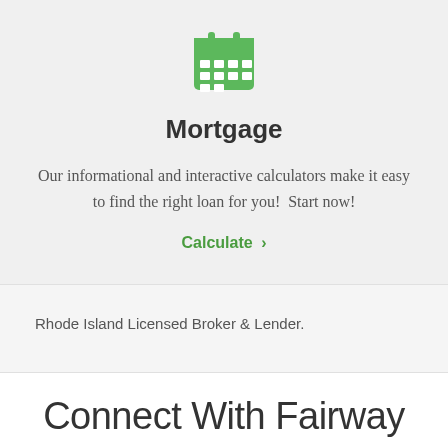[Figure (illustration): Green calendar icon with grid lines representing dates]
Mortgage
Our informational and interactive calculators make it easy to find the right loan for you!  Start now!
Calculate >
Rhode Island Licensed Broker & Lender.
Connect With Fairway